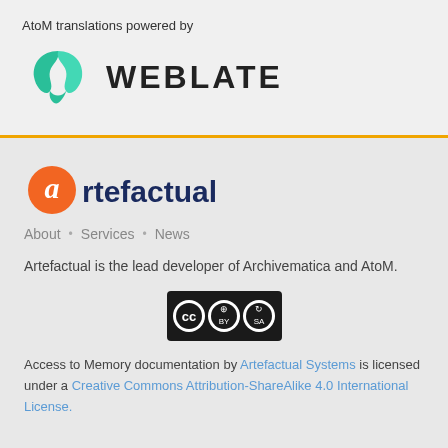AtoM translations powered by
[Figure (logo): Weblate logo with teal swirl icon and bold WEBLATE text]
[Figure (logo): Artefactual logo with orange circle 'a' and dark blue 'rtefactual' text]
About · Services · News
Artefactual is the lead developer of Archivematica and AtoM.
[Figure (logo): Creative Commons BY-SA badge]
Access to Memory documentation by Artefactual Systems is licensed under a Creative Commons Attribution-ShareAlike 4.0 International License.